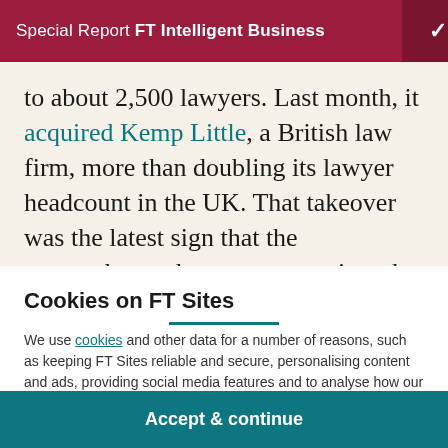Special Report FT Intelligent Business
to about 2,500 lawyers. Last month, it acquired Kemp Little, a British law firm, more than doubling its lawyer headcount in the UK. That takeover was the latest sign that the encroachment by accountants into the territory of
Cookies on FT Sites
We use cookies and other data for a number of reasons, such as keeping FT Sites reliable and secure, personalising content and ads, providing social media features and to analyse how our Sites are used.
Manage cookies
Accept & continue